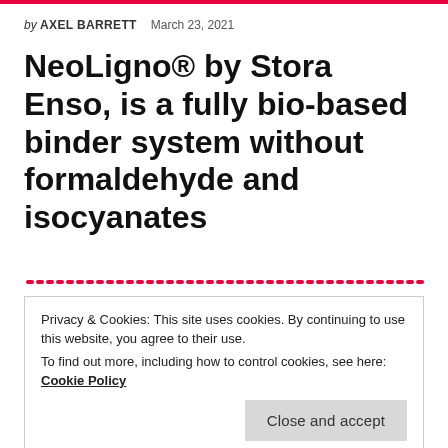by AXEL BARRETT  March 23, 2021
NeoLigno® by Stora Enso, is a fully bio-based binder system without formaldehyde and isocyanates
Privacy & Cookies: This site uses cookies. By continuing to use this website, you agree to their use.
To find out more, including how to control cookies, see here: Cookie Policy
Close and accept
BUY
LOG IN